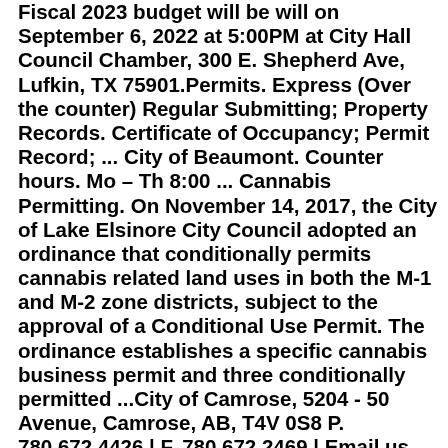Fiscal 2023 budget will be will on September 6, 2022 at 5:00PM at City Hall Council Chamber, 300 E. Shepherd Ave, Lufkin, TX 75901.Permits. Express (Over the counter) Regular Submitting; Property Records. Certificate of Occupancy; Permit Record; ... City of Beaumont. Counter hours. Mo – Th 8:00 ... Cannabis Permitting. On November 14, 2017, the City of Lake Elsinore City Council adopted an ordinance that conditionally permits cannabis related land uses in both the M-1 and M-2 zone districts, subject to the approval of a Conditional Use Permit. The ordinance establishes a specific cannabis business permit and three conditionally permitted ...City of Camrose, 5204 - 50 Avenue, Camrose, AB, T4V 0S8 P. 780.672.4426 | F. 780.672.2469 | Email us The City of Camrose is a Municipality located on Treaty 6 territory, the traditional lands of the Indigenous and the Métis People.Alarm Permits; Applicant Fingerprinting; Citation Sign-Off; Local Records Check; Notice to Appear Citations; Parking Citations; Registrants; Report Copies; Subpoenas; Tow Service Agreement;